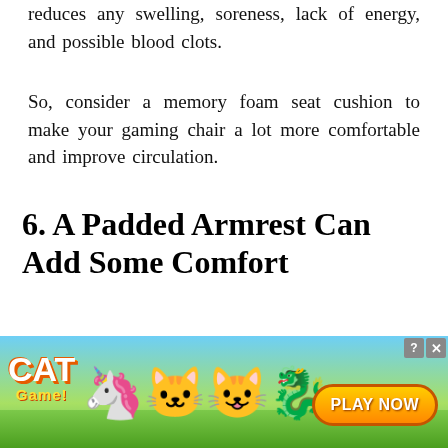reduces any swelling, soreness, lack of energy, and possible blood clots.
So, consider a memory foam seat cushion to make your gaming chair a lot more comfortable and improve circulation.
6. A Padded Armrest Can Add Some Comfort
The goal of an armrest is to hold your arms at a ninety-degree angle comfortably. This means that your shoulders and neck shoul...
[Figure (screenshot): Cat Game mobile game advertisement banner at bottom of page. Shows cartoon cat characters, 'CAT Game' logo, and 'PLAY NOW' button on a blue/green background. Has close (X) buttons in top right corner.]